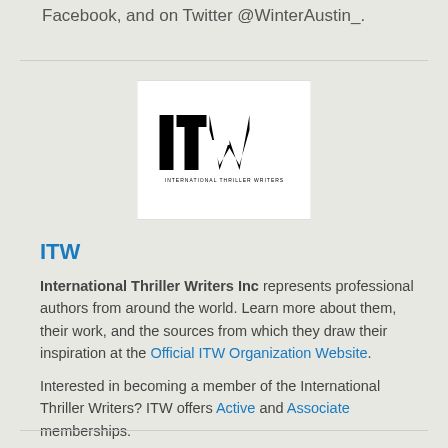Facebook, and on Twitter @WinterAustin_.
[Figure (logo): ITW (International Thriller Writers) logo — black stylized letters 'itw' with tagline text below on white background]
ITW
International Thriller Writers Inc represents professional authors from around the world. Learn more about them, their work, and the sources from which they draw their inspiration at the Official ITW Organization Website.
Interested in becoming a member of the International Thriller Writers? ITW offers Active and Associate memberships.